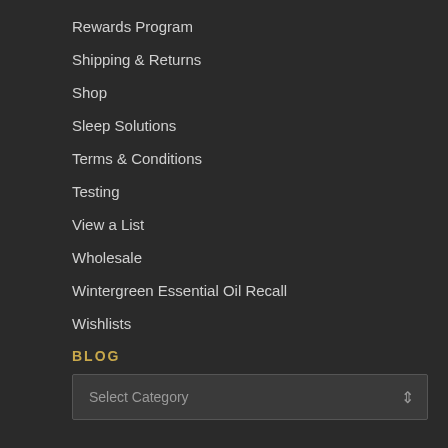Rewards Program
Shipping & Returns
Shop
Sleep Solutions
Terms & Conditions
Testing
View a List
Wholesale
Wintergreen Essential Oil Recall
Wishlists
BLOG
Select Category